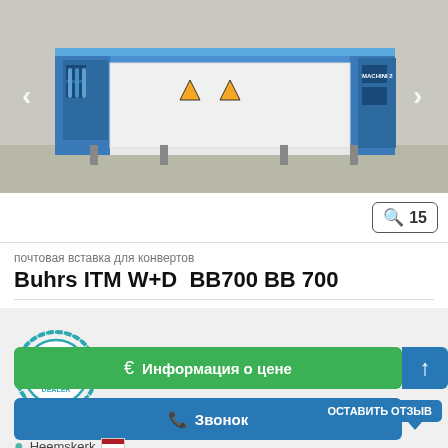[Figure (photo): Industrial mailing/envelope insertion machine (Buhrs ITM W+D BB700 BB 700) in a warehouse, predominantly blue and white, with navigation arrows on sides]
15
почтовая вставка для конвертов
Buhrs ITM W+D  BB700 BB 700
[Figure (logo): Certified Dealer badge - teal/green circular stamp with checkmark]
€ Информация о цене
✆ Звонок
ОСТАВИТЬ ОТЗЫВ
Heemskerk